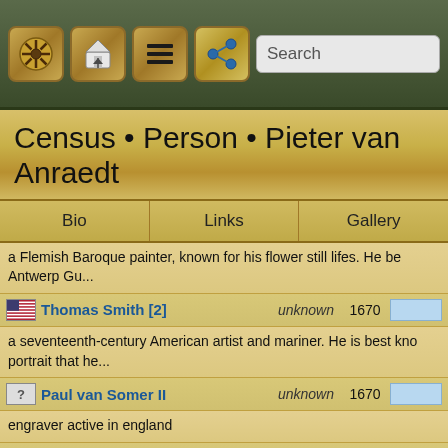[Figure (screenshot): App toolbar with navigation icons: ship wheel, home/upload, hamburger menu, share button, and search bar]
Census • Person • Pieter van Anraedt
Bio    Links    Gallery
a Flemish Baroque painter, known for his flower still lifes. He be Antwerp Gu...
Thomas Smith [2]    unknown    1670
a seventeenth-century American artist and mariner. He is best kno portrait that he...
Paul van Somer II    unknown    1670
engraver active in england
Lucas Achtschellinck    1626, Jan    1657
a Flemish landscape painter. No signed or documented works of A known, although ...
Francisco Antolinez    1645    1660
an historical and landscape painter, and studied in the school of M and manner.